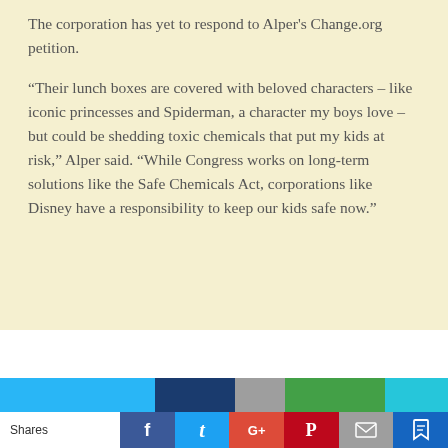The corporation has yet to respond to Alper's Change.org petition.
“Their lunch boxes are covered with beloved characters – like iconic princesses and Spiderman, a character my boys love – but could be shedding toxic chemicals that put my kids at risk,” Alper said. “While Congress works on long-term solutions like the Safe Chemicals Act, corporations like Disney have a responsibility to keep our kids safe now.”